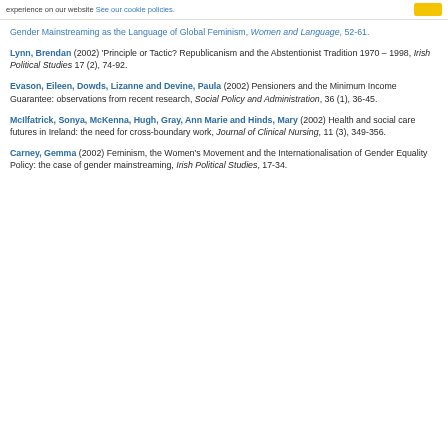experience on our website See our cookie policies.
Gender Mainstreaming as the Language of Global Feminism, Women and Language, 52-61.
Lynn, Brendan (2002) 'Principle or Tactic? Republicanism and the Abstentionist Tradition 1970 – 1998, Irish Political Studies 17 (2), 74-92.
Evason, Eileen, Dowds, Lizanne and Devine, Paula (2002) Pensioners and the Minimum Income Guarantee: observations from recent research, Social Policy and Administration, 36 (1), 36-45.
McIlfatrick, Sonya, McKenna, Hugh, Gray, Ann Marie and Hinds, Mary (2002) Health and social care futures in Ireland: the need for cross-boundary work, Journal of Clinical Nursing, 11 (3), 349-356.
Carney, Gemma (2002) Feminism, the Women's Movement and the Internationalisation of Gender Equality Policy: the case of gender mainstreaming, Irish Political Studies, 17-34.